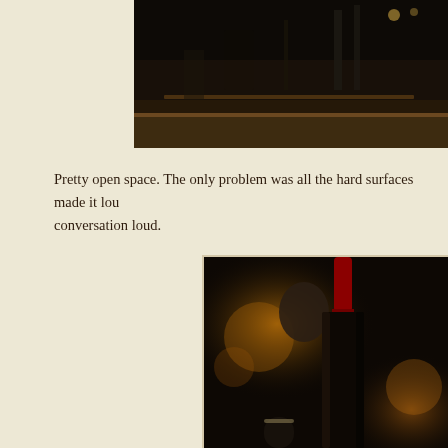[Figure (photo): Dark interior photo of a restaurant or bar showing a wooden bar counter with dark surfaces, dim lighting, and shelving in the background.]
Pretty open space. The only problem was all the hard surfaces made it loud — you had to make your conversation loud.
[Figure (photo): Dark atmospheric photo of a wine bottle with a red capsule/foil top in the foreground, with a blurred person and warm bokeh lights in the background.]